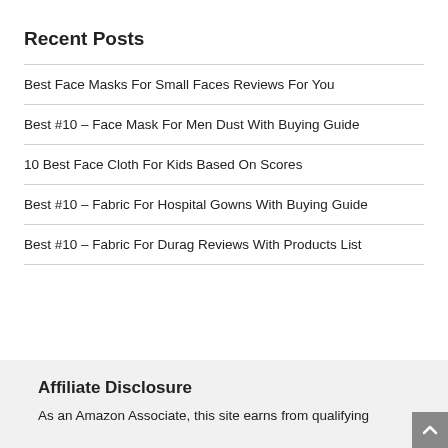Recent Posts
Best Face Masks For Small Faces Reviews For You
Best #10 – Face Mask For Men Dust With Buying Guide
10 Best Face Cloth For Kids Based On Scores
Best #10 – Fabric For Hospital Gowns With Buying Guide
Best #10 – Fabric For Durag Reviews With Products List
Affiliate Disclosure
As an Amazon Associate, this site earns from qualifying